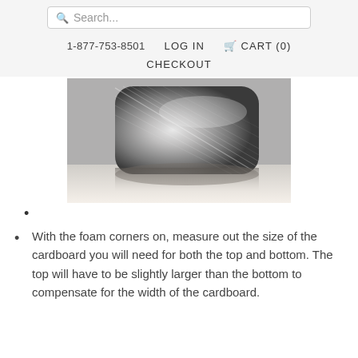Search...  1-877-753-8501  LOG IN  CART (0)  CHECKOUT
[Figure (photo): Close-up photo of a foam corner protector wrapped with clear plastic/shrink wrap, showing the rounded corner of an object covered in reflective packaging material.]
•
With the foam corners on, measure out the size of the cardboard you will need for both the top and bottom. The top will have to be slightly larger than the bottom to compensate for the width of the cardboard.